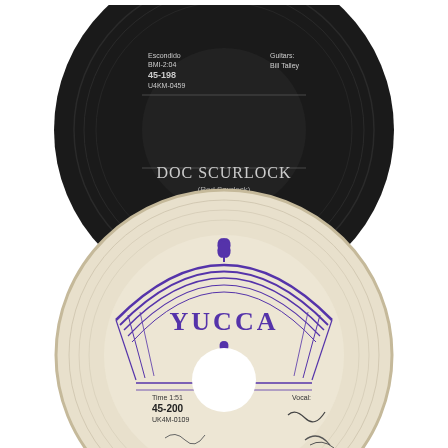[Figure (photo): Top: A dark black vinyl 45 RPM record label (Escondido label) for 'DOC SCURLOCK' by Calvin Boles. Text on label: 'Escondido BMI-2:04', '45-198', 'U4KM-0459', 'Guitars: Bill Talley', 'DOC SCURLOCK', '(Rod Scurlock)', 'CALVIN BOLES', 'A-2'. Bottom: A cream/beige Yucca record label for a 45 RPM single. Text: 'YUCCA' (large arc text in purple), 'Time 1:51', '45-200', 'UK4M-0109', 'Vocal:' with a signature. The Yucca label has a decorative purple art-deco arch design with a plant motif at the top.]